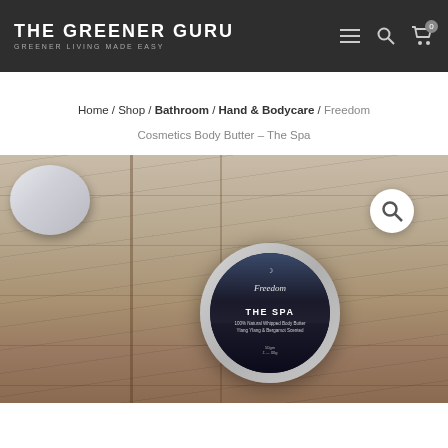THE GREENER GURU — GREENER LIVING MADE EASY
Home / Shop / Bathroom / Hand & Bodycare / Freedom Cosmetics Body Butter – The Spa
[Figure (photo): Product photo of Freedom Cosmetics Body Butter – The Spa tin, sitting in a wooden tray with a white striped bowl in the background. The tin is circular and dark with 'Freedom' and 'THE SPA' text on the label.]